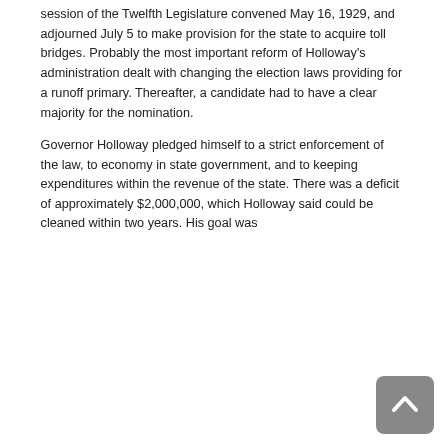session of the Twelfth Legislature convened May 16, 1929, and adjourned July 5 to make provision for the state to acquire toll bridges. Probably the most important reform of Holloway's administration dealt with changing the election laws providing for a runoff primary. Thereafter, a candidate had to have a clear majority for the nomination.
Governor Holloway pledged himself to a strict enforcement of the law, to economy in state government, and to keeping expenditures within the revenue of the state. There was a deficit of approximately $2,000,000, which Holloway said could be cleaned within two years. His goal was